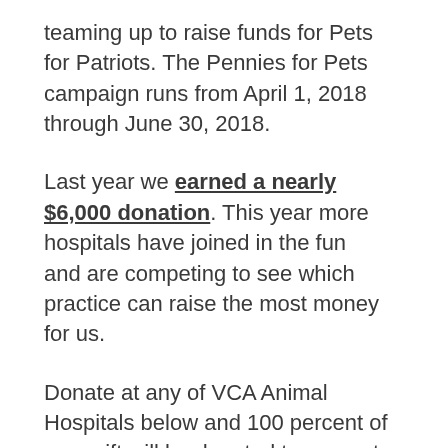teaming up to raise funds for Pets for Patriots. The Pennies for Pets campaign runs from April 1, 2018 through June 30, 2018.
Last year we earned a nearly $6,000 donation. This year more hospitals have joined in the fun and are competing to see which practice can raise the most money for us.
Donate at any of VCA Animal Hospitals below and 100 percent of your gift will be donated to support our life-saving work. If you work or live near any of these practices, please stop in to make a donation to VCA Charities. And if you are a client you can round up your bill: